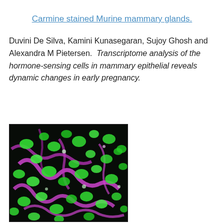Carmine stained Murine mammary glands.
Duvini De Silva, Kamini Kunasegaran, Sujoy Ghosh and Alexandra M Pietersen. Transcriptome analysis of the hormone-sensing cells in mammary epithelial reveals dynamic changes in early pregnancy.
[Figure (photo): Fluorescence microscopy image of murine mammary gland tissue showing green (luminal) and magenta (basal/myoepithelial) stained cells on a dark background, revealing ductal structures.]